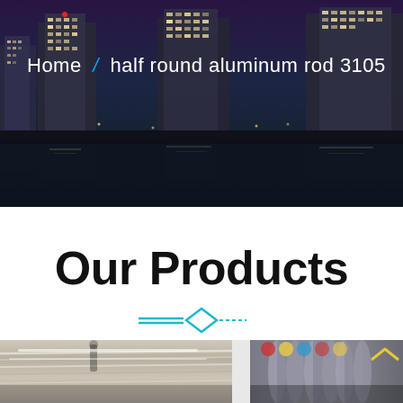[Figure (photo): Night cityscape with illuminated skyscrapers reflected in water, dark purple-blue sky]
Home / half round aluminum rod 3105
Our Products
[Figure (illustration): Decorative diamond divider with cyan/teal lines]
[Figure (photo): Two product thumbnail images at the bottom — left shows aluminum sheet/coil material, right shows aluminum rods/tubes with a chevron arrow icon]